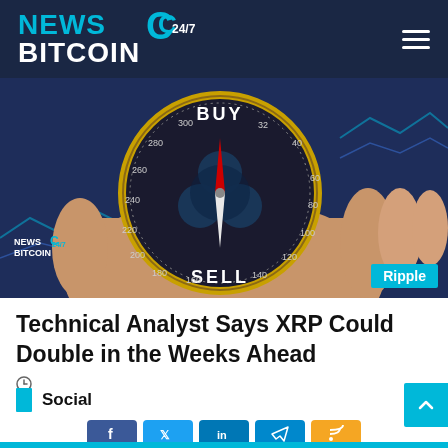NEWS BITCOIN 24/7
[Figure (photo): Hand holding a compass-like coin with the Ripple (XRP) logo, pointing between BUY and SELL labels, with stock charts in the background. NewsbitCoin 24/7 watermark at bottom left, Ripple tag at bottom right.]
Technical Analyst Says XRP Could Double in the Weeks Ahead
Social